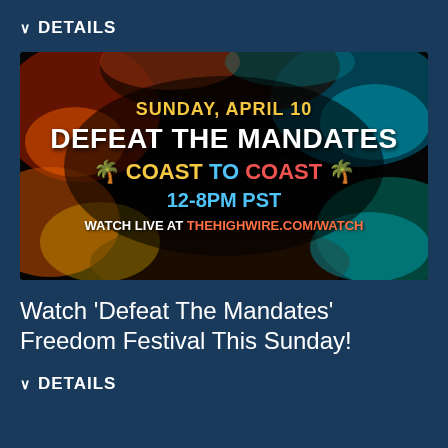DETAILS
[Figure (illustration): Event banner for 'Defeat The Mandates Coast to Coast' on Sunday, April 10, 12-8PM PST. Dark background with colorful powder explosion effects. Text: SUNDAY, APRIL 10 / DEFEAT THE MANDATES / COAST TO COAST / 12-8PM PST / WATCH LIVE AT THEHIGHWIRE.COM/WATCH]
Watch ‘Defeat The Mandates’ Freedom Festival This Sunday!
DETAILS